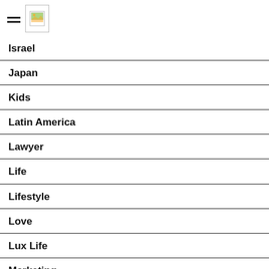[Figure (logo): Hamburger menu icon and document/image icon in header]
Israel
Japan
Kids
Latin America
Lawyer
Life
Lifestyle
Love
Lux Life
Marketing
Medicine
Mexico